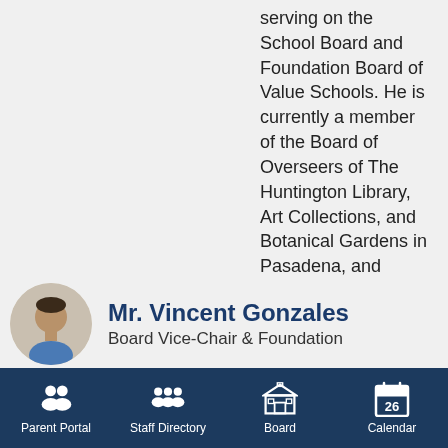serving on the School Board and Foundation Board of Value Schools. He is currently a member of the Board of Overseers of The Huntington Library, Art Collections, and Botanical Gardens in Pasadena, and currently serves on the Board of Trustees of Mystic Seaport Museum in Connecticut, and serves as a Trustee of the Salzburg Global Seminar in Austria.
Contact this Board Member
[Figure (photo): Headshot photo of Mr. Vincent Gonzales, a man with short dark hair]
Mr. Vincent Gonzales
Board Vice-Chair & Foundation
Parent Portal  Staff Directory  Board  Calendar